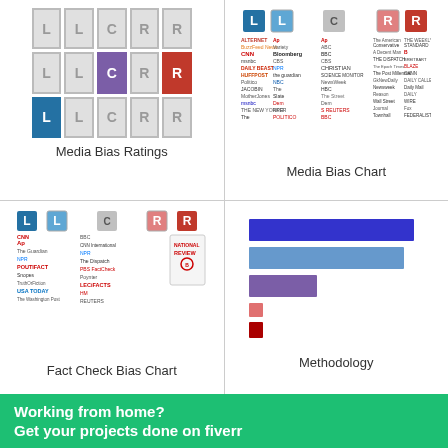[Figure (infographic): Media Bias Ratings: 3x5 grid of letter tiles (L, L, C, R, R) in grey/purple/red/blue]
Media Bias Ratings
[Figure (infographic): Media Bias Chart showing news outlet logos arranged left to right by political bias]
Media Bias Chart
[Figure (infographic): Fact Check Bias Chart with news outlet logos arranged by bias and fact-checking quality]
Fact Check Bias Chart
[Figure (bar-chart): Horizontal bar chart showing methodology bars in blue, light blue, purple, pink, and red]
Methodology
2k Shares
Working from home?
Get your projects done on fiverr